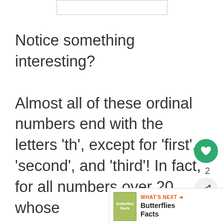[Figure (other): Top decorative bar/image placeholder]
Notice something interesting?

Almost all of these ordinal numbers end with the letters 'th', except for 'first', 'second', and 'third'! In fact, for all numbers over 20 whose
[Figure (other): Heart/like button with count 2 and share button]
[Figure (other): WHAT'S NEXT arrow banner with Butterflies Facts book thumbnail]